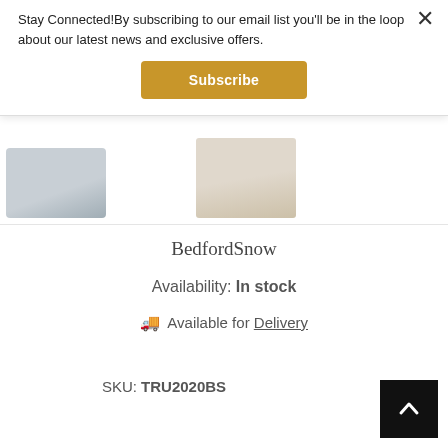Stay Connected!By subscribing to our email list you'll be in the loop about our latest news and exclusive offers.
Subscribe
[Figure (photo): Two product thumbnail images: a light blue/grey disc shape on the left and a beige/cream disc shape on the right]
BedfordSnow
Availability: In stock
🚚 Available for Delivery
SKU: TRU2020BS